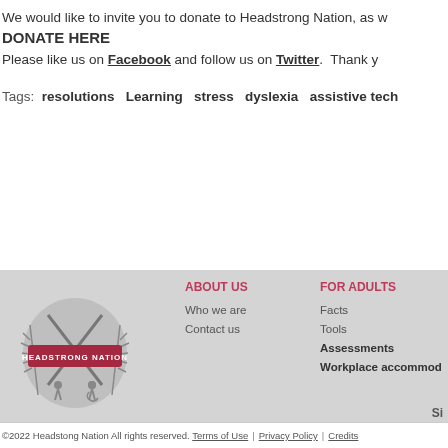We would like to invite you to donate to Headstrong Nation, as w
DONATE HERE
Please like us on Facebook and follow us on Twitter.  Thank y
Tags:  resolutions  Learning  stress  dyslexia  assistive tech
[Figure (logo): Headstrong Nation logo with crossed pencils, wheat stalks, and figures on a shield, with a red banner reading HEADSTRONG NATION]
ABOUT US
Who we are
Contact us
FOR ADULTS
Facts
Tools
Assessments
Workplace accommod
Si
©2022 Headstong Nation All rights reserved.  Terms of Use  |  Privacy Policy  |  Credits